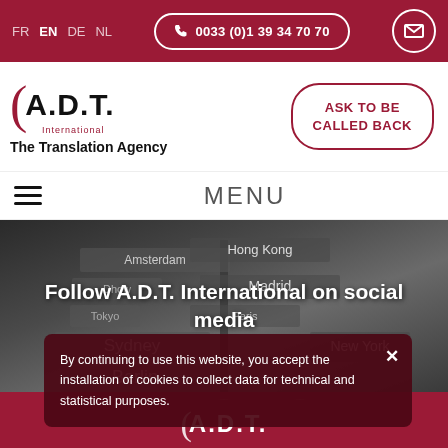FR EN DE NL | 0033 (0)1 39 34 70 70
[Figure (logo): A.D.T. International - The Translation Agency logo with crescent bracket motif in dark red]
ASK TO BE CALLED BACK
MENU
[Figure (photo): Black and white photo of directional signpost showing city names: Hong Kong, Amsterdam, Madrid, Sydney, Berlin, New York, Tokyo, Paris]
Follow A.D.T. International on social media
[Figure (infographic): Social media icons for Facebook, Twitter, and LinkedIn on dark red background]
By continuing to use this website, you accept the installation of cookies to collect data for technical and statistical purposes.
[Figure (logo): A.D.T. International footer logo in white on dark red background]